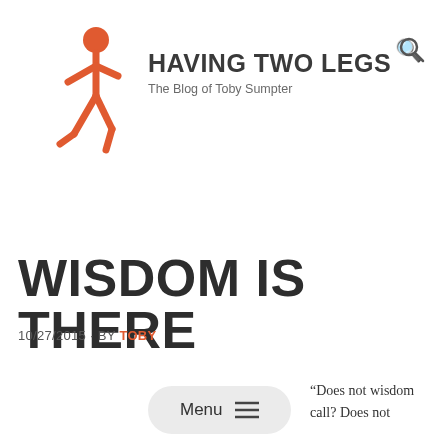[Figure (logo): Walking person stick figure logo in orange/red color]
HAVING TWO LEGS
The Blog of Toby Sumpter
WISDOM IS THERE
10/27/2015 · BY TOBY
Menu ≡
“Does not wisdom call? Does not